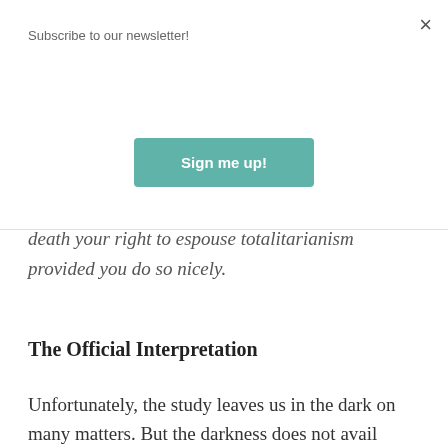Subscribe to our newsletter!
Sign me up!
the ⁠administrative⁠ ⁠transgressions⁠ will defend to the death your right to espouse totalitarianism provided you do so nicely.
The Official Interpretation
Unfortunately, the study leaves us in the dark on many matters. But the darkness does not avail against Susan Herbst, executive vice chancellor and chief academic officer of the university system. She knows what the numbers mean. Herbst told Inside Higher Ed,